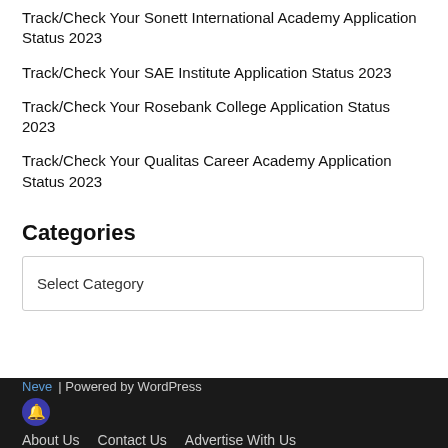Track/Check Your Sonett International Academy Application Status 2023
Track/Check Your SAE Institute Application Status 2023
Track/Check Your Rosebank College Application Status 2023
Track/Check Your Qualitas Career Academy Application Status 2023
Categories
Select Category
Neve | Powered by WordPress   About Us   Contact Us   Advertise With Us